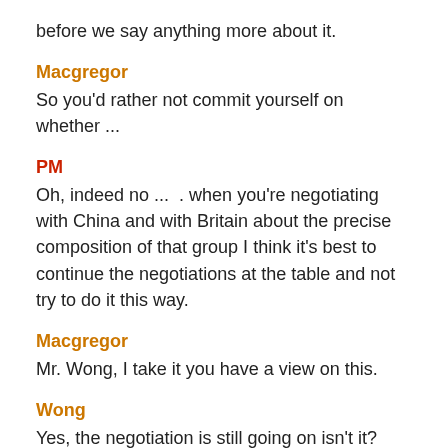before we say anything more about it.
Macgregor
So you'd rather not commit yourself on whether ...
PM
Oh, indeed no ...  . when you're negotiating with China and with Britain about the precise composition of that group I think it's best to continue the negotiations at the table and not try to do it this way.
Macgregor
Mr. Wong, I take it you have a view on this.
Wong
Yes, the negotiation is still going on isn't it?
PM
Yes it is.
Wong